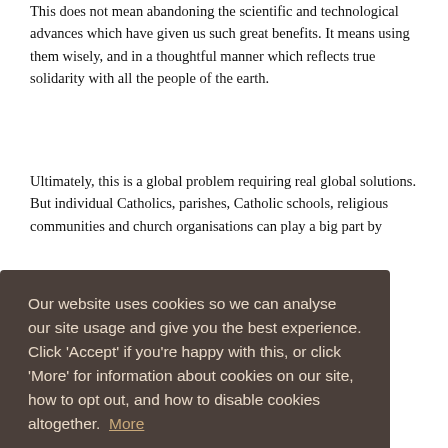This does not mean abandoning the scientific and technological advances which have given us such great benefits. It means using them wisely, and in a thoughtful manner which reflects true solidarity with all the people of the earth.
Ultimately, this is a global problem requiring real global solutions. But individual Catholics, parishes, Catholic schools, religious communities and church organisations can play a big part by
g
orld
New
d
pon by
derly –
ut
o
ne by
[Figure (screenshot): Cookie consent overlay on dark brown/grey background with text: 'Our website uses cookies so we can analyse our site usage and give you the best experience. Click Accept if you're happy with this, or click More for information about cookies on our site, how to opt out, and how to disable cookies altogether. More' and an Accept button.]
those who can best afford them.